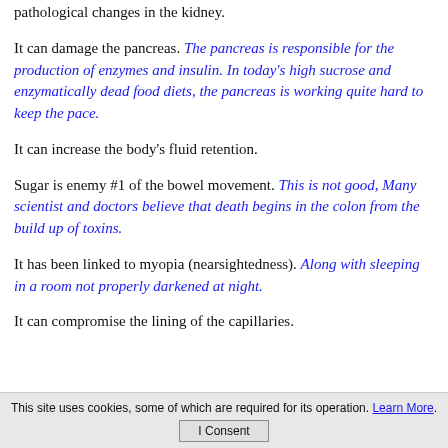pathological changes in the kidney.
It can damage the pancreas. The pancreas is responsible for the production of enzymes and insulin. In today's high sucrose and enzymatically dead food diets, the pancreas is working quite hard to keep the pace.
It can increase the body's fluid retention.
Sugar is enemy #1 of the bowel movement. This is not good, Many scientist and doctors believe that death begins in the colon from the build up of toxins.
It has been linked to myopia (nearsightedness). Along with sleeping in a room not properly darkened at night.
It can compromise the lining of the capillaries.
This site uses cookies, some of which are required for its operation. Learn More. I Consent